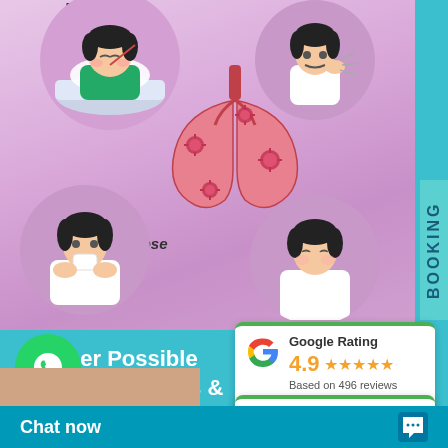[Figure (infographic): Medical infographic on a pink/purple gradient background showing respiratory illness symptoms: a sick boy lying in bed (top left, partially cut off), a coughing boy (top right, partially cut off), an infected lungs illustration in the center with virus particles, a boy with runny nose (bottom left circle labeled 'Runny Nose'), and a boy looking unwell (bottom right circle labeled 'Shortness of Breath').]
Other Possible Signs, Symptoms & Complications
[Figure (infographic): Google Rating card: 4.9 stars (orange), Based on 496 reviews, with Google G logo and green top border]
[Figure (infographic): Facebook Rating card: 5.0 stars (blue), Based on 42 reviews, with Facebook F logo and green top border]
BOOKING
Chat now